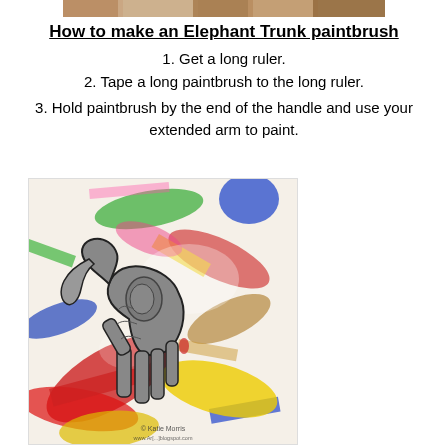[Figure (photo): Partial image strip at top of page showing a close-up photo, likely of an elephant trunk or animal]
How to make an Elephant Trunk paintbrush
1. Get a long ruler.
2. Tape a long paintbrush to the long ruler.
3. Hold paintbrush by the end of the handle and use your extended arm to paint.
[Figure (photo): Child's artwork: a colorful abstract painting with brushstrokes in red, blue, yellow, green on paper, with a hand-traced elephant shape drawn over it in gray with black outlines, showing elephant body features. Watermark at bottom: © Katie Morris, www.Ar[...]blogspot.com]